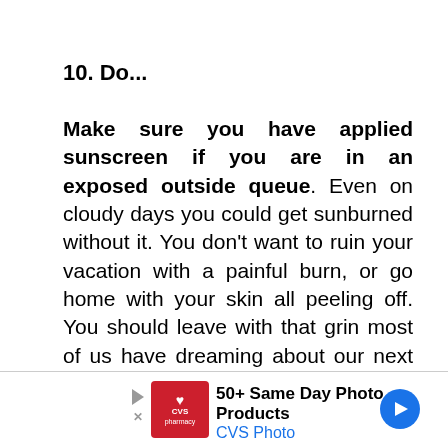10. Do...
Make sure you have applied sunscreen if you are in an exposed outside queue. Even on cloudy days you could get sunburned without it. You don't want to ruin your vacation with a painful burn, or go home with your skin all peeling off. You should leave with that grin most of us have dreaming about our next Disney trip!
[Figure (other): CVS Pharmacy advertisement banner at the bottom of the page. Shows CVS pharmacy logo in red, text '50+ Same Day Photo Products' and 'CVS Photo' in blue, with a blue circular arrow icon on the right.]